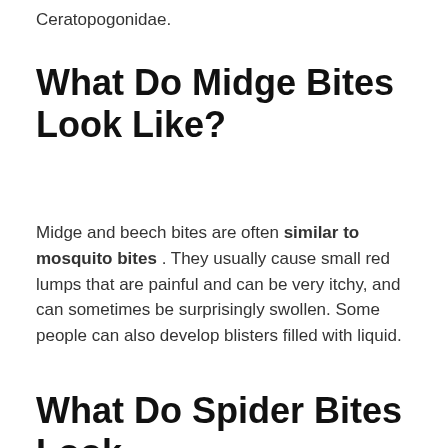Ceratopogonidae.
What Do Midge Bites Look Like?
Midge and beech bites are often similar to mosquito bites . They usually cause small red lumps that are painful and can be very itchy, and can sometimes be surprisingly swollen. Some people can also develop blisters filled with liquid.
What Do Spider Bites Look